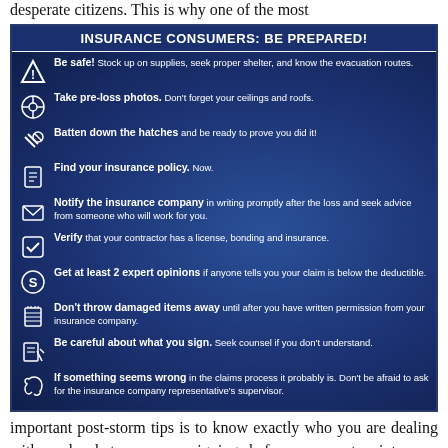desperate citizens. This is why one of the most
[Figure (infographic): Insurance Consumers: Be Prepared infographic on dark blue background with hurricane imagery. Lists 10 tips with icons: 1. Be safe! Stock up on supplies, seek proper shelter, and know the evacuation routes. 2. Take pre-loss photos. Don't forget your ceilings and roofs. 3. Batten down the hatches and be ready to prove you did it! 4. Find your insurance policy. Now. 5. Notify the insurance company in writing promptly after the loss and seek advice from someone who will work for you. 6. Verify that your contractor has a license, bonding and insurance. 7. Get at least 2 expert opinions if anyone tells you your claim is below the deductible. 8. Don't throw damaged items away until after you have written permission from your insurance company. 9. Be careful about what you sign. Seek counsel if you don't understand. 10. If something seems wrong in the claims process it probably is. Don't be afraid to ask for the insurance company representative's supervisor.]
important post-storm tips is to know exactly who you are dealing with and what you are signing before you enter into any agreements with